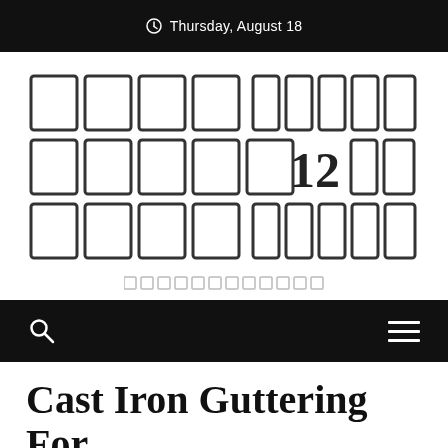Thursday, August 18
[Figure (logo): Website logo with rectangular block characters forming text, includes the number 12, and a tagline beneath made of small rectangular blocks]
Navigation bar with search icon and hamburger menu
Cast Iron Guttering For